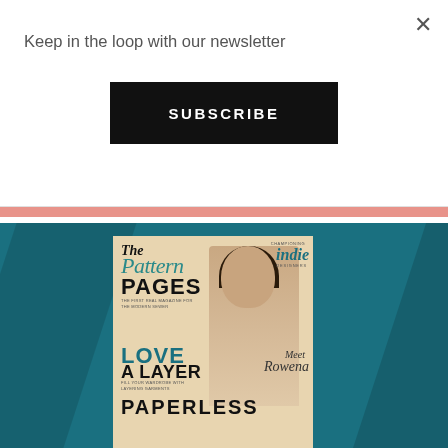Keep in the loop with our newsletter
SUBSCRIBE
[Figure (screenshot): Magazine cover of 'The Pattern Pages' showing a woman smiling, teal background with shadow lines, on a pinkish-salmon banner]
×